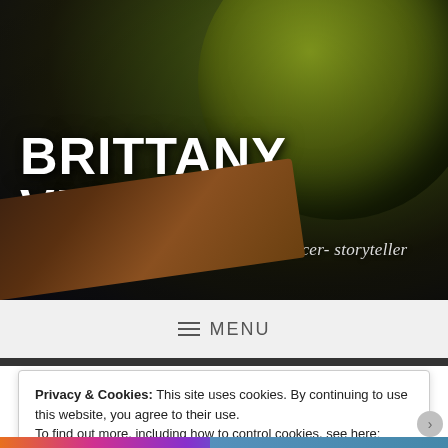[Figure (photo): Hero background image showing a green bowl/guitar/abstract musical instrument in dark moody lighting with warm brown tones]
BRITTANY VICKERS
journalist: multimedia reporter – producer- storyteller
≡  MENU
Privacy & Cookies: This site uses cookies. By continuing to use this website, you agree to their use.
To find out more, including how to control cookies, see here: Cookie Policy
Close and accept